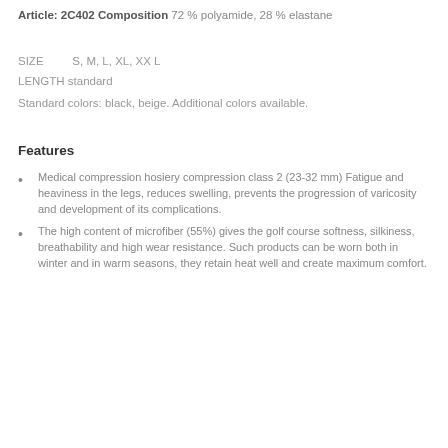Article: 2C402 Composition 72 % polyamide, 28 % elastane
SIZE         S, M, L, XL, XX L
LENGTH standard
Standard colors: black, beige. Additional colors available.
Features
Medical compression hosiery compression class 2 (23-32 mm) Fatigue and heaviness in the legs, reduces swelling, prevents the progression of varicosity and development of its complications.
The high content of microfiber (55%) gives the golf course softness, silkiness, breathability and high wear resistance. Such products can be worn both in winter and in warm seasons, they retain heat well and create maximum comfort.